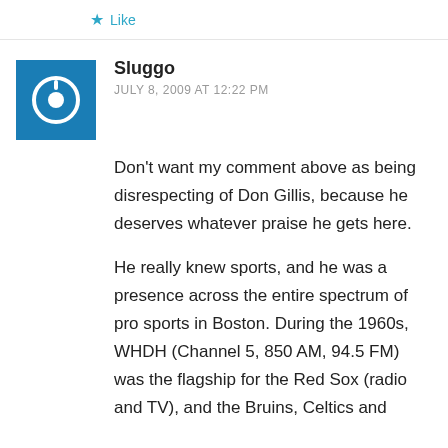★ Like
Sluggo
JULY 8, 2009 AT 12:22 PM
Don't want my comment above as being disrespecting of Don Gillis, because he deserves whatever praise he gets here.
He really knew sports, and he was a presence across the entire spectrum of pro sports in Boston. During the 1960s, WHDH (Channel 5, 850 AM, 94.5 FM) was the flagship for the Red Sox (radio and TV), and the Bruins, Celtics and